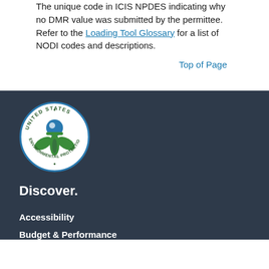The unique code in ICIS NPDES indicating why no DMR value was submitted by the permittee. Refer to the Loading Tool Glossary for a list of NODI codes and descriptions.
Top of Page
[Figure (logo): United States Environmental Protection Agency circular seal with blue and green logo]
Discover.
Accessibility
Budget & Performance